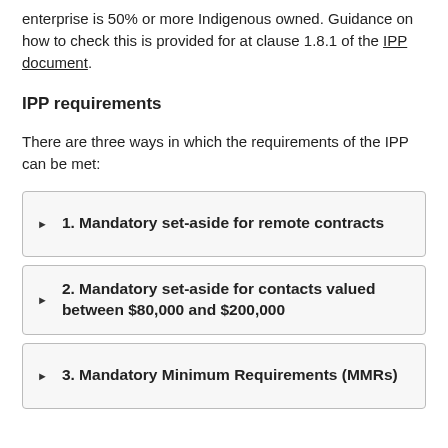enterprise is 50% or more Indigenous owned. Guidance on how to check this is provided for at clause 1.8.1 of the IPP document.
IPP requirements
There are three ways in which the requirements of the IPP can be met:
1. Mandatory set-aside for remote contracts
2. Mandatory set-aside for contacts valued between $80,000 and $200,000
3. Mandatory Minimum Requirements (MMRs)